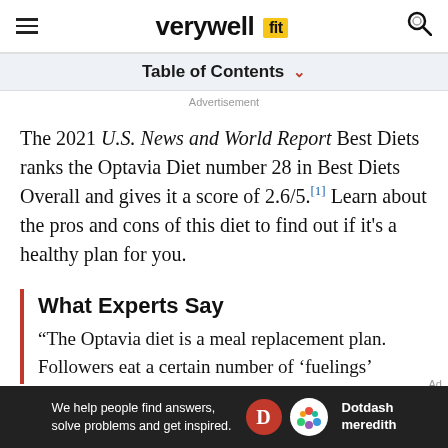verywell fit
Table of Contents
Advertisement
The 2021 U.S. News and World Report Best Diets ranks the Optavia Diet number 28 in Best Diets Overall and gives it a score of 2.6/5.[1] Learn about the pros and cons of this diet to find out if it's a healthy plan for you.
What Experts Say
“The Optavia diet is a meal replacement plan. Followers eat a certain number of ‘fuelings’